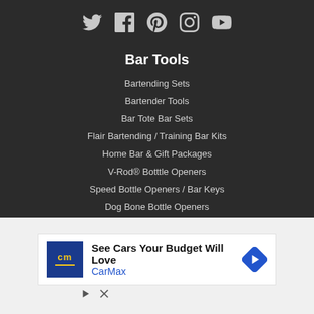[Figure (other): Social media icons: Twitter, Facebook, Pinterest, Instagram, YouTube]
Bar Tools
Bartending Sets
Bartender Tools
Bar Tote Bar Sets
Flair Bartending / Training Bar Kits
Home Bar & Gift Packages
V-Rod® Botttle Openers
Speed Bottle Openers / Bar Keys
Dog Bone Bottle Openers
[Figure (other): CarMax advertisement banner: 'See Cars Your Budget Will Love' with CarMax logo and navigation arrow icon]